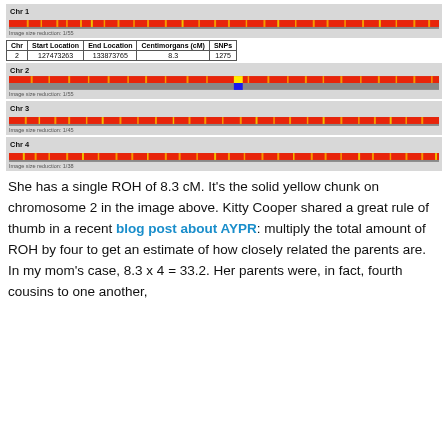[Figure (illustration): Chromosome 1 ROH visualization track - red bar with orange/yellow vertical markers on grey background]
Image size reduction: 1/55
| Chr | Start Location | End Location | Centimorgans (cM) | SNPs |
| --- | --- | --- | --- | --- |
| 2 | 127473263 | 133873765 | 8.3 | 1275 |
[Figure (illustration): Chromosome 2 ROH visualization track - red bar with orange/yellow vertical markers, one solid yellow block and one blue block near center, on grey background]
Image size reduction: 1/55
[Figure (illustration): Chromosome 3 ROH visualization track - red bar with orange/yellow vertical markers on grey background]
Image size reduction: 1/45
[Figure (illustration): Chromosome 4 ROH visualization track - red bar with orange/yellow vertical markers on grey background]
Image size reduction: 1/38
She has a single ROH of 8.3 cM. It's the solid yellow chunk on chromosome 2 in the image above. Kitty Cooper shared a great rule of thumb in a recent blog post about AYPR: multiply the total amount of ROH by four to get an estimate of how closely related the parents are. In my mom's case, 8.3 x 4 = 33.2. Her parents were, in fact, fourth cousins to one another, which fits the amount of ROH pretty well.